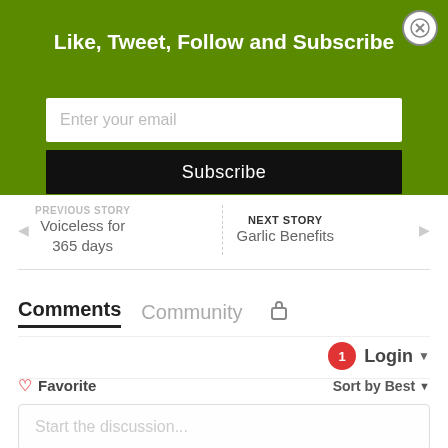Like, Tweet, Follow and Subscribe
Enter your email
Subscribe
PREVIOUS STORY
Voiceless for 365 days
NEXT STORY
Garlic Benefits
Comments  Community
Login
Favorite  Sort by Best
Start the discussion...
LOG IN WITH